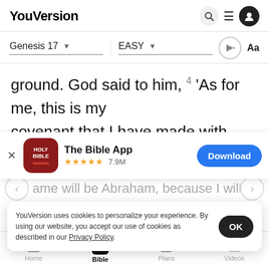YouVersion
Genesis 17  EASY
ground. God said to him, 4 'As for me, this is my covenant that I have made with you. You will become the ancestor of many nations of people
[Figure (screenshot): App store banner for The Bible App with red icon showing HOLY BIBLE, star rating 7.9M, and Download button]
name will be Abraham, because I will call you to be... will give
YouVersion uses cookies to personalize your experience. By using our website, you accept our use of cookies as described in our Privacy Policy.
Home  Bible  Plans  Videos